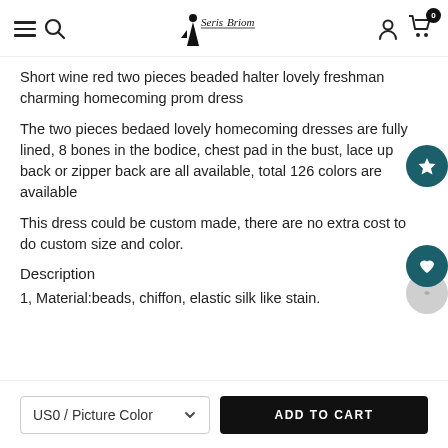SerisBriom - navigation header with hamburger, search, logo, user, and cart icons
Short wine red two pieces beaded halter lovely freshman charming homecoming prom dress
The two pieces bedaed lovely homecoming dresses are fully lined, 8 bones in the bodice, chest pad in the bust, lace up back or zipper back are all available, total 126 colors are available
This dress could be custom made, there are no extra cost to do custom size and color.
Description
1, Material:beads, chiffon, elastic silk like stain.